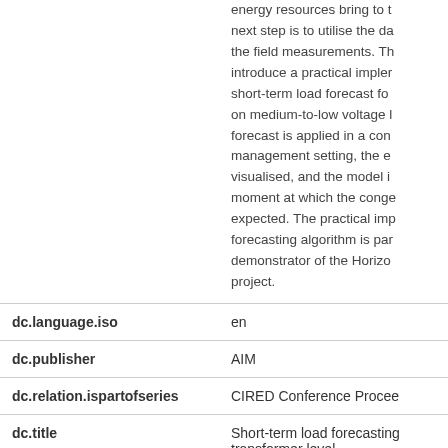| Field | Value |
| --- | --- |
|  | energy resources bring to t next step is to utilise the da the field measurements. Th introduce a practical impler short-term load forecast fo on medium-to-low voltage l forecast is applied in a con management setting, the e visualised, and the model i moment at which the conge expected. The practical imp forecasting algorithm is par demonstrator of the Horizo project. |
| dc.language.iso | en |
| dc.publisher | AIM |
| dc.relation.ispartofseries | CIRED Conference Procee |
| dc.title | Short-term load forecasting transformer level |